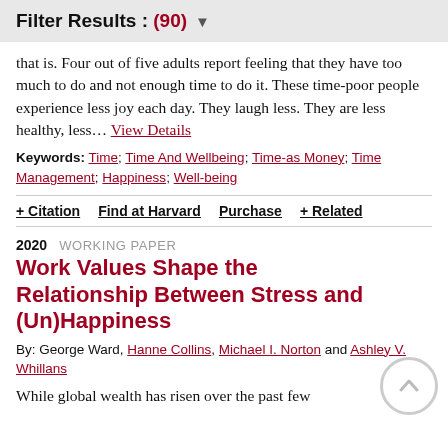Filter Results : (90)
that is. Four out of five adults report feeling that they have too much to do and not enough time to do it. These time-poor people experience less joy each day. They laugh less. They are less healthy, less… View Details
Keywords: Time; Time And Wellbeing; Time-as Money; Time Management; Happiness; Well-being
+ Citation   Find at Harvard   Purchase   + Related
2020  WORKING PAPER
Work Values Shape the Relationship Between Stress and (Un)Happiness
By: George Ward, Hanne Collins, Michael I. Norton and Ashley V. Whillans
While global wealth has risen over the past few